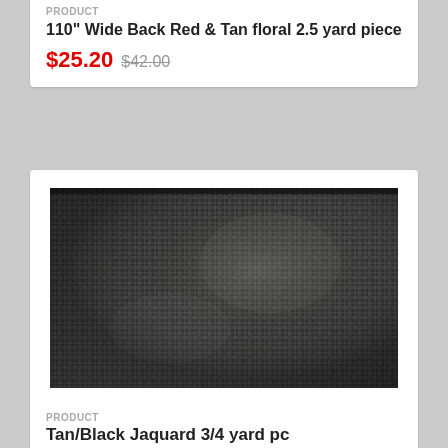PRODUCT
110" Wide Back Red & Tan floral 2.5 yard piece
$25.20  $42.00
[Figure (photo): Close-up photo of a tan/black jacquard woven mesh fabric with a grid-like weave pattern, shown in grayscale.]
PRODUCT
Tan/Black Jaquard 3/4 yard pc
$6.75  $11.25